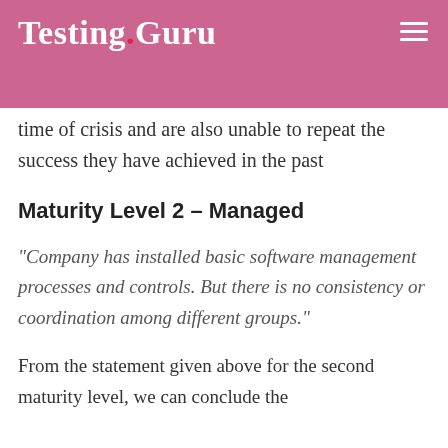Testing Guru
Moreover, organizations at this level are not sufficiently motivated to over commit, abandon projects during the time of crisis and are also unable to repeat the success they have achieved in the past
Maturity Level 2 – Managed
“Company has installed basic software management processes and controls. But there is no consistency or coordination among different groups.”
From the statement given above for the second maturity level, we can conclude the